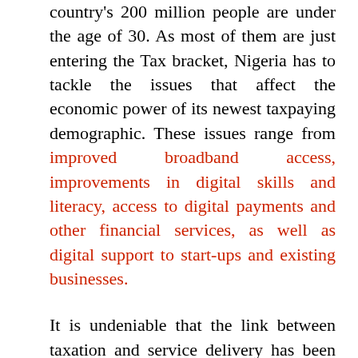country's 200 million people are under the age of 30. As most of them are just entering the Tax bracket, Nigeria has to tackle the issues that affect the economic power of its newest taxpaying demographic. These issues range from improved broadband access, improvements in digital skills and literacy, access to digital payments and other financial services, as well as digital support to start-ups and existing businesses.
It is undeniable that the link between taxation and service delivery has been broken for so long in Nigeria. Still, with the directions being forged by the pandemic, the government has the opportunity to bargain new terms in its fiscal social contract and also deliver on old ones. The data from the NESG survey grouped tax non-compliance in Nigeria under four main reasons-- having relatively little